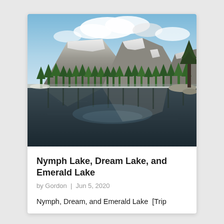[Figure (photo): Mountain lake scene with snow-capped rocky peaks reflected in still water, surrounded by evergreen forest and pine trees. Blue sky with clouds visible above the mountains.]
Nymph Lake, Dream Lake, and Emerald Lake
by Gordon | Jun 5, 2020
Nymph, Dream, and Emerald Lake [Trip